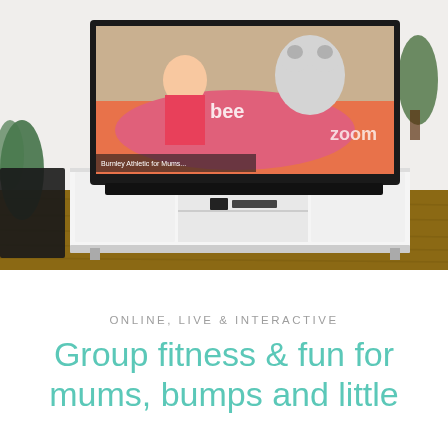[Figure (photo): A flat-screen TV on a white TV stand in a living room. The TV screen shows a woman in a pink top on a yoga mat with a cartoon bear character, with 'bee' and 'zoom' text visible on screen. The TV stand has open shelves with a remote and tablet. Wood-look flooring and plants visible.]
ONLINE, LIVE & INTERACTIVE
Group fitness & fun for mums, bumps and little